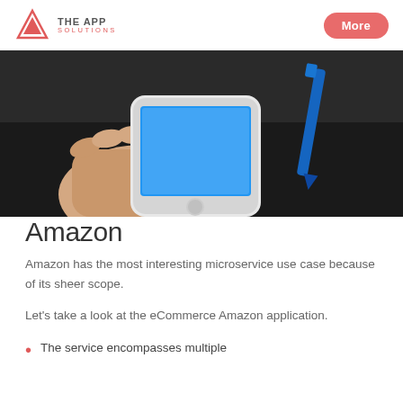THE APP SOLUTIONS | More
[Figure (photo): A hand holding a white iPhone with a blue screen, with a blue pen in the background on a dark surface.]
Amazon
Amazon has the most interesting microservice use case because of its sheer scope.
Let's take a look at the eCommerce Amazon application.
The service encompasses multiple